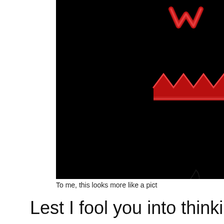[Figure (photo): A dark/black image showing glowing red jack-o-lantern or monster face features — a jagged toothed mouth and eyes — visible in the upper right portion of an otherwise black frame.]
To me, this looks more like a pict
Lest I fool you into thinking t